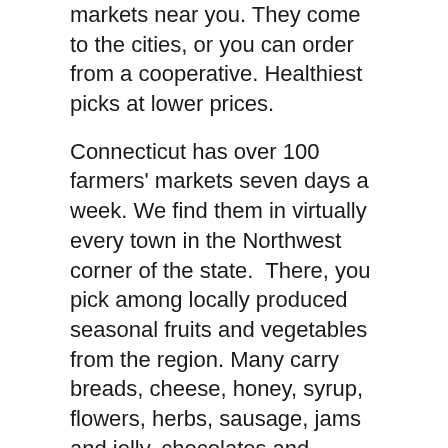markets near you. They come to the cities, or you can order from a cooperative. Healthiest picks at lower prices.
Connecticut has over 100 farmers' markets seven days a week. We find them in virtually every town in the Northwest corner of the state.  There, you pick among locally produced seasonal fruits and vegetables from the region. Many carry breads, cheese, honey, syrup, flowers, herbs, sausage, jams and jelly, chocolates and mushrooms.
#2 Have A Picnic
Find  parks, waterfalls, hills and mountains. Bring a blanket, some wine, cheese and other delights. Find a picnic table. Enjoy the